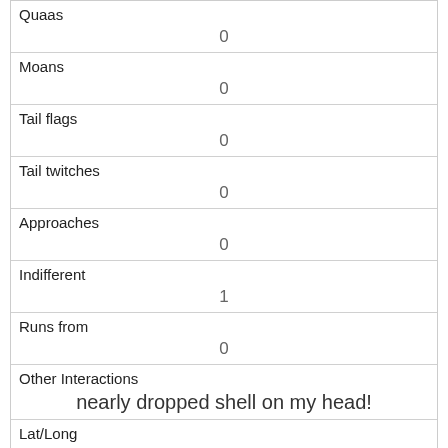| Quaas | 0 |
| Moans | 0 |
| Tail flags | 0 |
| Tail twitches | 0 |
| Approaches | 0 |
| Indifferent | 1 |
| Runs from | 0 |
| Other Interactions | nearly dropped shell on my head! |
| Lat/Long | POINT (-73.9545773579075 40.7898684635744) |
| Link | 1554 |